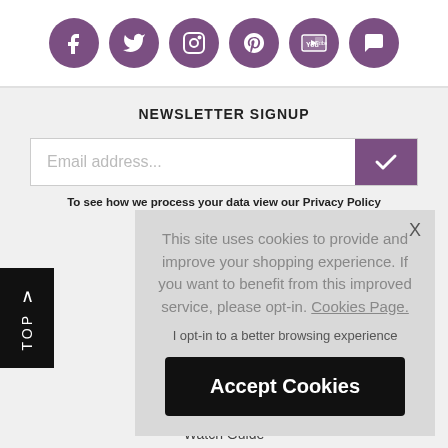[Figure (infographic): Row of six circular purple social media icons: Facebook, Twitter, Instagram, Pinterest, YouTube, and a chat/comment icon]
NEWSLETTER SIGNUP
[Figure (infographic): Email address input field with a purple checkmark submit button]
To see how we process your data view our Privacy Policy
[Figure (infographic): Cookie consent overlay popup with close X button, text about cookies, opt-in link to Cookies Page, and Accept Cookies button]
Watch Guide